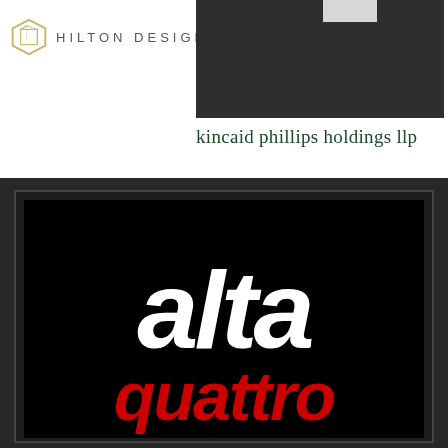[Figure (logo): Hilton Design logo with hexagon icon and text HILTON DESIGN]
[Figure (screenshot): Dark grey header image block with white rectangle element at top]
kincaid phillips holdings llp
[Figure (logo): Alta Quattro logo on black background — white bold text reading 'alta' and red bold text reading 'quattro' below]